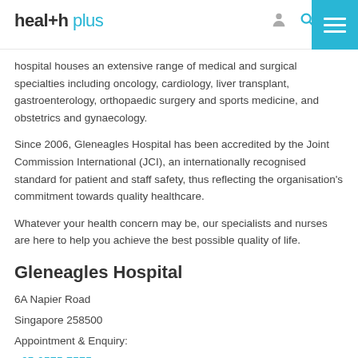health plus
hospital houses an extensive range of medical and surgical specialties including oncology, cardiology, liver transplant, gastroenterology, orthopaedic surgery and sports medicine, and obstetrics and gynaecology.
Since 2006, Gleneagles Hospital has been accredited by the Joint Commission International (JCI), an internationally recognised standard for patient and staff safety, thus reflecting the organisation's commitment towards quality healthcare.
Whatever your health concern may be, our specialists and nurses are here to help you achieve the best possible quality of life.
Gleneagles Hospital
6A Napier Road
Singapore 258500
Appointment & Enquiry:
+65 6575 7575